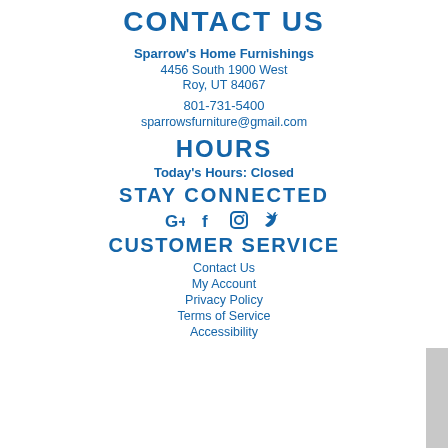CONTACT US
Sparrow's Home Furnishings
4456 South 1900 West
Roy, UT 84067
801-731-5400
sparrowsfurniture@gmail.com
HOURS
Today's Hours: Closed
STAY CONNECTED
[Figure (other): Social media icons: Google+, Facebook, Instagram, Twitter]
CUSTOMER SERVICE
Contact Us
My Account
Privacy Policy
Terms of Service
Accessibility